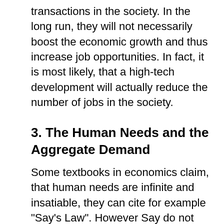transactions in the society. In the long run, they will not necessarily boost the economic growth and thus increase job opportunities. In fact, it is most likely, that a high-tech development will actually reduce the number of jobs in the society.
3. The Human Needs and the Aggregate Demand
Some textbooks in economics claim, that human needs are infinite and insatiable, they can cite for example "Say's Law". However Say do not say anything about this, only it is a tacit preassumption for his law, that the